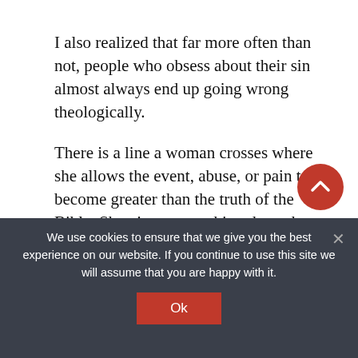I also realized that far more often than not, people who obsess about their sin almost always end up going wrong theologically.
There is a line a woman crosses where she allows the event, abuse, or pain to become greater than the truth of the Bible. She views everything through a lens of abuse or pain instead of viewing her pain through the lens of Scriptural truth. For others, they view the Christian faith through the eyes of a prominent speaker or pastor who betrays their trust in him/her. When that line is crossed, a true disciple...
We use cookies to ensure that we give you the best experience on our website. If you continue to use this site we will assume that you are happy with it.
Ok